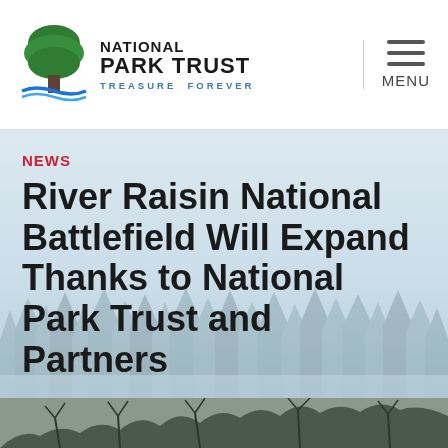National Park Trust — TREASURE FOREVER | MENU
NEWS
River Raisin National Battlefield Will Expand Thanks to National Park Trust and Partners
[Figure (photo): Misty winter treeline / forest landscape photo strip at the bottom of the page]